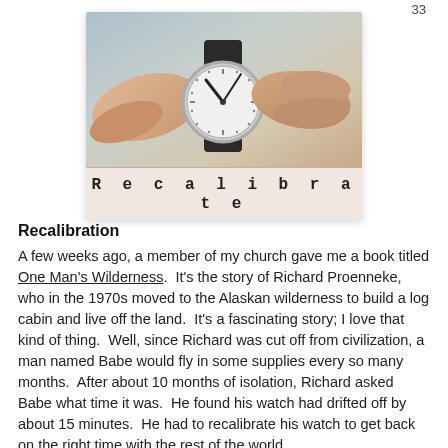33
[Figure (photo): Hands adjusting a wristwatch, with a banner reading 'Recalibrate' below the watch image.]
Recalibration
A few weeks ago, a member of my church gave me a book titled One Man's Wilderness. It's the story of Richard Proenneke, who in the 1970s moved to the Alaskan wilderness to build a log cabin and live off the land. It's a fascinating story; I love that kind of thing. Well, since Richard was cut off from civilization, a man named Babe would fly in some supplies every so many months. After about 10 months of isolation, Richard asked Babe what time it was. He found his watch had drifted off by about 15 minutes. He had to recalibrate his watch to get back on the right time with the rest of the world.